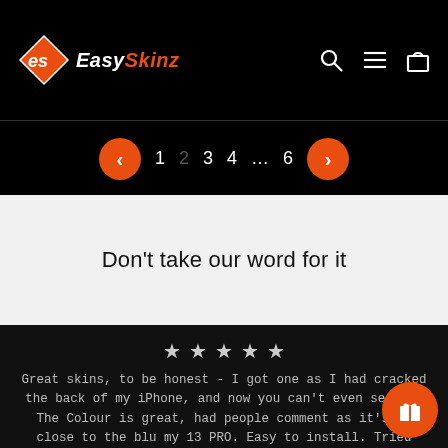EasySkinz — navigation header with logo, search, menu, and cart icons
< 1 2 3 4 ... 6 >
Don't take our word for it
★ ★ ★ ★ ★
Great skins, to be honest - I got one as I had cracked the back of my iPhone, and now you can't even see it. The Colour is great, had people comment as it's so close to the blu my 13 PRO. Easy to install. Tried others w great difficulty